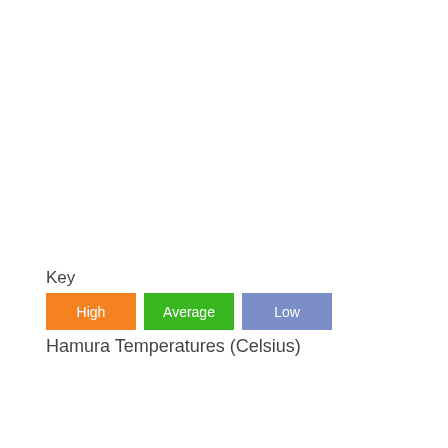Key
[Figure (other): Legend showing three colored boxes: High (orange), Average (green), Low (blue-purple)]
Hamura Temperatures (Celsius)